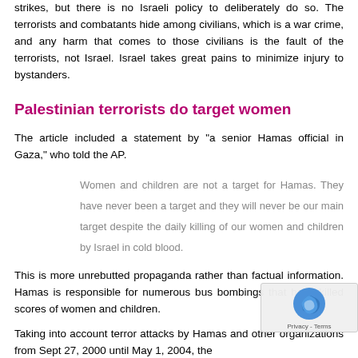strikes, but there is no Israeli policy to deliberately do so. The terrorists and combatants hide among civilians, which is a war crime, and any harm that comes to those civilians is the fault of the terrorists, not Israel. Israel takes great pains to minimize injury to bystanders.
Palestinian terrorists do target women
The article included a statement by "a senior Hamas official in Gaza," who told the AP.
Women and children are not a target for Hamas. They have never been a target and they will never be our main target despite the daily killing of our women and children by Israel in cold blood.
This is more unrebutted propaganda rather than factual information. Hamas is responsible for numerous bus bombings that have killed scores of women and children.
Taking into account terror attacks by Hamas and other organizations from Sept 27, 2000 until May 1, 2004, the